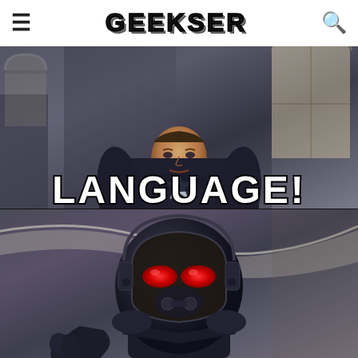GEEKSER
[Figure (photo): Meme image with two panels: top panel shows Captain America in dark suit with 'LANGUAGE!' text overlay; bottom panel shows Star-Lord giving thumbs up in his helmet.]